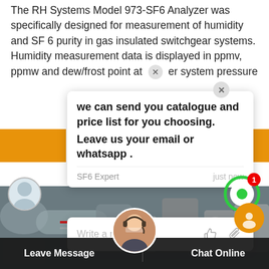The RH Systems Model 973-SF6 Analyzer was specifically designed for measurement of humidity and SF 6 purity in gas insulated switchgear systems. Humidity measurement data is displayed in ppmv, ppmw and dew/frost point at [X] er system pressure
[Figure (screenshot): Live chat popup showing message: 'we can send you catalogue and price list for you choosing. Leave us your email or whatsapp.' from SF6 Expert, just now. Reply box below with thumbs-up and paperclip icons.]
[Figure (photo): Industrial switchgear equipment room background photo]
Leave Message
Chat Online